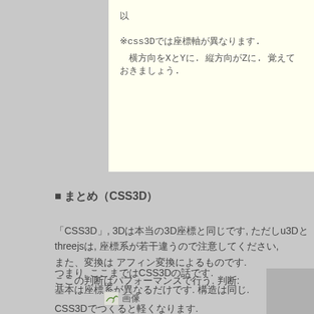以
※css3Dでは座標軸が異なります.
　横方向をXとYに. 縦方向がZに. 覚えておきましょう.
■ まとめ（CSS3D）
「CSS3D」, 3Dは本当の3D座標と同じです, ただしu3Dとthreejsは, 座標系が若干違うので注意してください, また、変換は アフィン変換によるものです.
つまり, ここまではCSS3Dの話です.
基本は座標系が異なるだけです. 構造は同じ.
CSS3Dでつくると軽くなります.
ここの判断はパフォーマンスで行う. 判断:
[Figure (illustration): Small image icon with leaf symbol and Japanese text label]